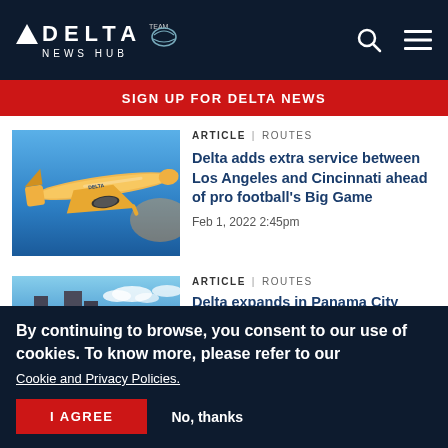DELTA NEWS HUB
SIGN UP FOR DELTA NEWS
[Figure (photo): Delta airplane flying against a blue and orange sky]
ARTICLE | ROUTES
Delta adds extra service between Los Angeles and Cincinnati ahead of pro football's Big Game
Feb 1, 2022 2:45pm
[Figure (photo): Partial view of city skyline against blue sky]
ARTICLE | ROUTES
Delta expands in Panama City
By continuing to browse, you consent to our use of cookies. To know more, please refer to our Cookie and Privacy Policies.
I AGREE
No, thanks